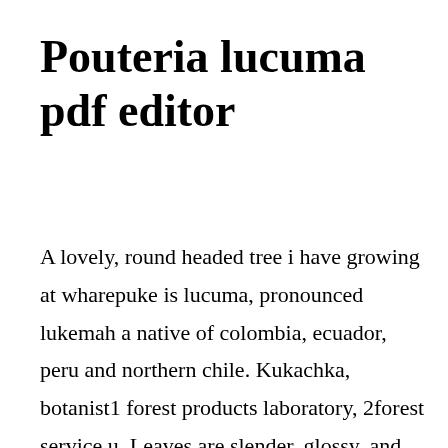Pouteria lucuma pdf editor
A lovely, round headed tree i have growing at wharepuke is lucuma, pronounced lukemah a native of colombia, ecuador, peru and northern chile. Kukachka, botanist1 forest products laboratory, 2forest service u. Leaves are slender, glossy, and sharply tapered at the base. Pitted, sliced, dried, and milled to a